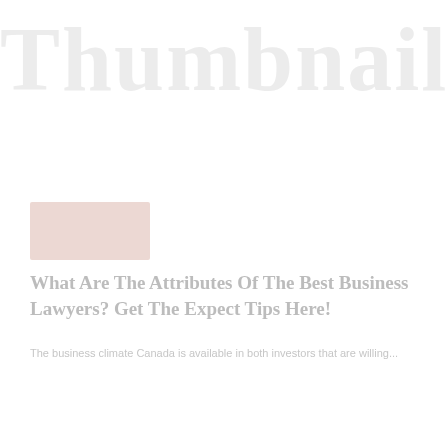Thumbnail
[Figure (photo): Small thumbnail image placeholder with reddish-brown tones]
What Are The Attributes Of The Best Business Lawyers? Get The Expect Tips Here!
The business climate Canada is available in both investors that are willing...